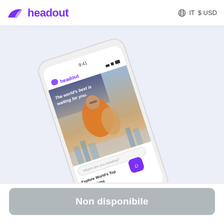headout  IT  $USD
[Figure (screenshot): Headout mobile app screenshot showing a smartphone with the app open. The app displays 'The world's best is waiting for you.' with a hero image of a man in an orange jacket carrying a woman. Below shows 'Explore World's Top Destinations' section with a purple search button. The phone is shown at an angle on a light purple/lavender background.]
Non disponibile